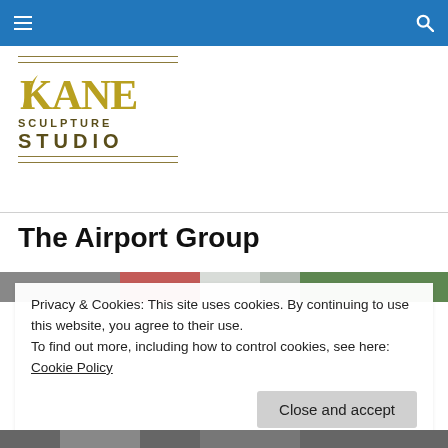Navigation bar with hamburger menu and search icon
[Figure (logo): Kane Sculpture Studio logo with olive/gold text and horizontal line decorations]
The Airport Group
[Figure (photo): Partial view of airport sculpture installation with red and white elements and green trees]
Privacy & Cookies: This site uses cookies. By continuing to use this website, you agree to their use.
To find out more, including how to control cookies, see here: Cookie Policy
Close and accept